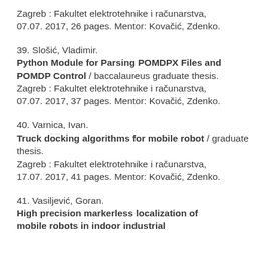Zagreb : Fakultet elektrotehnike i računarstva, 07.07. 2017, 26 pages. Mentor: Kovačić, Zdenko.
39. Slošić, Vladimir. Python Module for Parsing POMDPX Files and POMDP Control / baccalaureus graduate thesis. Zagreb : Fakultet elektrotehnike i računarstva, 07.07. 2017, 37 pages. Mentor: Kovačić, Zdenko.
40. Varnica, Ivan. Truck docking algorithms for mobile robot / graduate thesis. Zagreb : Fakultet elektrotehnike i računarstva, 17.07. 2017, 41 pages. Mentor: Kovačić, Zdenko.
41. Vasiljević, Goran. High precision markerless localization of mobile robots in indoor industrial